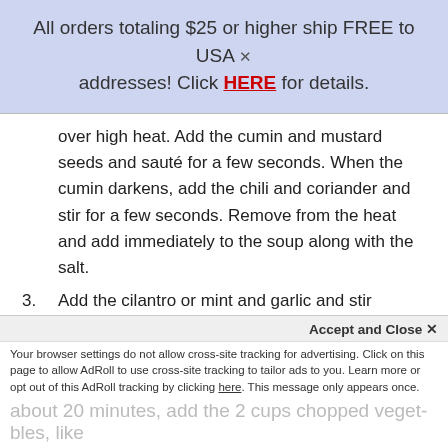All orders totaling $25 or higher ship FREE to USA addresses! Click HERE for details.
over high heat. Add the cumin and mustard seeds and sauté for a few seconds. When the cumin darkens, add the chili and coriander and stir for a few seconds. Remove from the heat and add immediately to the soup along with the salt.
3. Add the cilantro or mint and garlic and stir through. Ladle into bowls, garnish with extra cilantro or mint, and serve.
Notes:
Tips/Variations
Veggie variation: Include 1 to 2 cups choppe...
Accept and Close ✕
Your browser settings do not allow cross-site tracking for advertising. Click on this page to allow AdRoll to use cross-site tracking to tailor ads to you. Learn more or opt out of this AdRoll tracking by clicking here. This message only appears once.
about 20 minutes, add the 2 cups chopped veget-bles, like